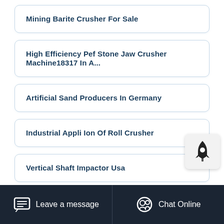Mining Barite Crusher For Sale
High Efficiency Pef Stone Jaw Crusher Machine18317 In A...
Artificial Sand Producers In Germany
Industrial Appli Ion Of Roll Crusher
Vertical Shaft Impactor Usa
Leave a message   Chat Online